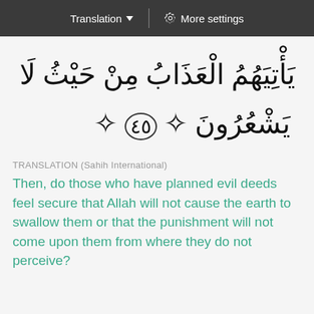Translation ▼  |  ⚙ More settings
يَأْتِيَهُمُ الْعَذَابُ مِنْ حَيْثُ لَا يَشْعُرُونَ ❀45❀
TRANSLATION (Sahih International)
Then, do those who have planned evil deeds feel secure that Allah will not cause the earth to swallow them or that the punishment will not come upon them from where they do not perceive?